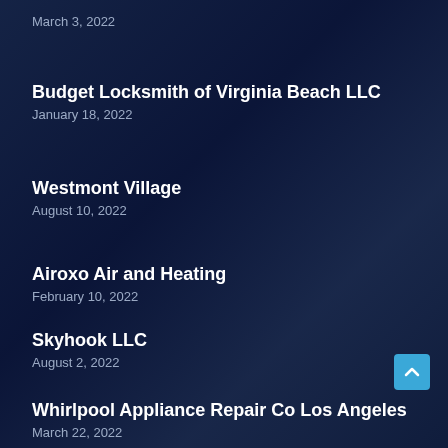March 3, 2022
Budget Locksmith of Virginia Beach LLC
January 18, 2022
Westmont Village
August 10, 2022
Airoxo Air and Heating
February 10, 2022
Skyhook LLC
August 2, 2022
Whirlpool Appliance Repair Co Los Angeles
March 22, 2022